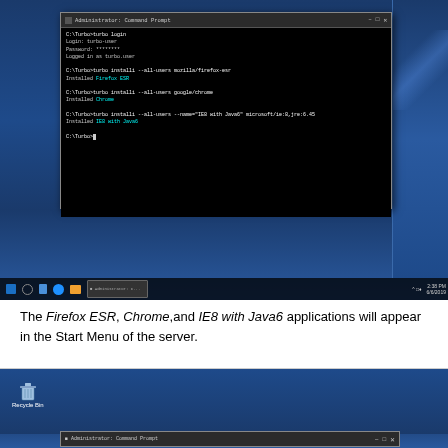[Figure (screenshot): Windows desktop screenshot showing an Administrator Command Prompt window with turbo CLI commands installing Firefox ESR, Chrome, and IE8 with Java6 for all users. Windows taskbar visible at bottom.]
The Firefox ESR, Chrome, and IE8 with Java6 applications will appear in the Start Menu of the server.
[Figure (screenshot): Windows desktop screenshot showing a Recycle Bin icon on the desktop and a partially visible Administrator Command Prompt window at the bottom.]